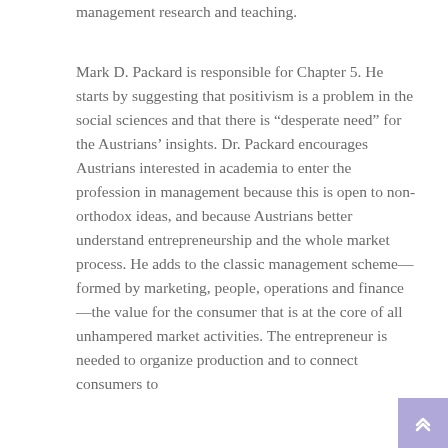management research and teaching.
Mark D. Packard is responsible for Chapter 5. He starts by suggesting that positivism is a problem in the social sciences and that there is “desperate need” for the Austrians’ insights. Dr. Packard encourages Austrians interested in academia to enter the profession in management because this is open to non-orthodox ideas, and because Austrians better understand entrepreneurship and the whole market process. He adds to the classic management scheme—formed by marketing, people, operations and finance—the value for the consumer that is at the core of all unhampered market activities. The entrepreneur is needed to organize production and to connect consumers to